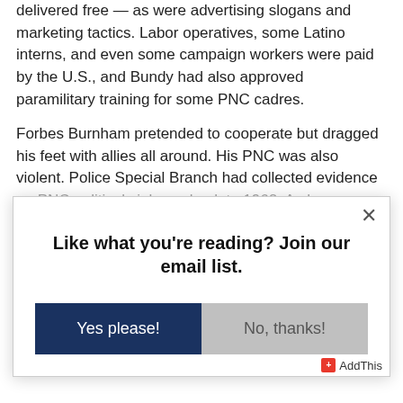delivered free — as were advertising slogans and marketing tactics. Labor operatives, some Latino interns, and even some campaign workers were paid by the U.S., and Bundy had also approved paramilitary training for some PNC cadres.
Forbes Burnham pretended to cooperate but dragged his feet with allies all around. His PNC was also violent. Police Special Branch had collected evidence on PNC political violence back to 1962. As home minister the reports would have gone to Janet Jagan, so Cheddi's protestations of ignorance in the fall
Like what you're reading? Join our email list.
Yes please!
No, thanks!